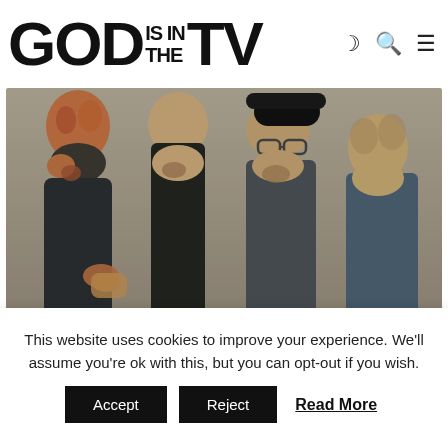GOD IS IN THE TV — navigation with moon, search, and menu icons
[Figure (photo): Four men posing together for a band photo. From left to right: a man with red curly hair and beard wearing dark jacket; a man with short hair and beard in dark shirt; a man with a black cap and glasses with beard in dark grey shirt; a man with curly hair leaning on the third man's shoulder in a blue denim shirt.]
This website uses cookies to improve your experience. We'll assume you're ok with this, but you can opt-out if you wish.
Accept   Reject   Read More